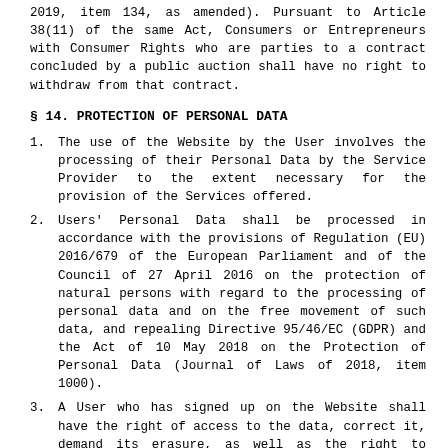2019, item 134, as amended). Pursuant to Article 38(11) of the same Act, Consumers or Entrepreneurs with Consumer Rights who are parties to a contract concluded by a public auction shall have no right to withdraw from that contract.
§ 14. PROTECTION OF PERSONAL DATA
1. The use of the Website by the User involves the processing of their Personal Data by the Service Provider to the extent necessary for the provision of the Services offered.
2. Users' Personal Data shall be processed in accordance with the provisions of Regulation (EU) 2016/679 of the European Parliament and of the Council of 27 April 2016 on the protection of natural persons with regard to the processing of personal data and on the free movement of such data, and repealing Directive 95/46/EC (GDPR) and the Act of 10 May 2018 on the Protection of Personal Data (Journal of Laws of 2018, item 1000).
3. A User who has signed up on the Website shall have the right of access to the data, correct it, demand its erasure, as well as the right to restrict processing, object to the processing of personal data and lodge a complaint with the supervisory authority if the data is processed contrary to legal requirements. Data can be viewed and changed